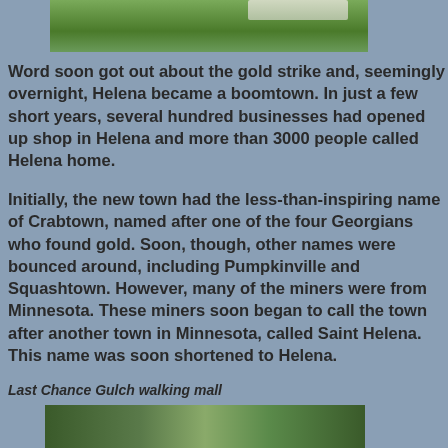[Figure (photo): Photo of a grassy area, likely a park or public space in Helena, partially visible at the top of the page]
Word soon got out about the gold strike and, seemingly overnight, Helena became a boomtown. In just a few short years, several hundred businesses had opened up shop in Helena and more than 3000 people called Helena home.
Initially, the new town had the less-than-inspiring name of Crabtown, named after one of the four Georgians who found gold. Soon, though, other names were bounced around, including Pumpkinville and Squashtown. However, many of the miners were from Minnesota. These miners soon began to call the town after another town in Minnesota, called Saint Helena. This name was soon shortened to Helena.
Last Chance Gulch walking mall
[Figure (photo): Photo of Last Chance Gulch walking mall showing trees and outdoor pathway]